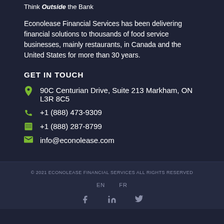Think Outside the Bank
Econolease Financial Services has been delivering financial solutions to thousands of food service businesses, mainly restaurants, in Canada and the United States for more than 30 years.
GET IN TOUCH
90C Centurian Drive, Suite 213 Markham, ON L3R 8C5
+1 (888) 473-9309
+1 (888) 287-8799
info@econolease.com
© 2021 ECONOLEASE FINANCIAL SERVICES ALL RIGHTS RESERVED
EN   FR